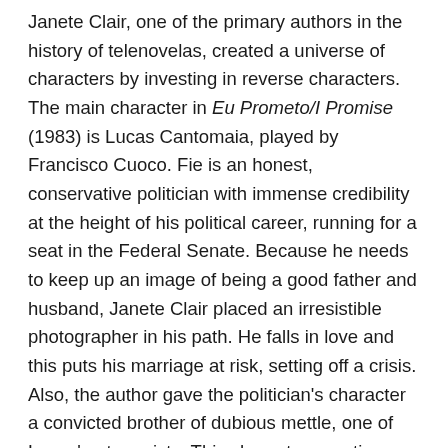Janete Clair, one of the primary authors in the history of telenovelas, created a universe of characters by investing in reverse characters. The main character in Eu Prometo/I Promise (1983) is Lucas Cantomaia, played by Francisco Cuoco. Fie is an honest, conservative politician with immense credibility at the height of his political career, running for a seat in the Federal Senate. Because he needs to keep up an image of being a good father and husband, Janete Clair placed an irresistible photographer in his path. He falls in love and this puts his marriage at risk, setting off a crisis. Also, the author gave the politician's character a convicted brother of dubious mettle, one of Lucas' antagonists. This character questions the politician's work for an NGO that deals specifically with the reinsertion of former prisoners into the work market. Lucas' two assistants bring to the fore debates that lay bare the politician's moral dilemma, one forever offering positive advice and the other providing bad advice of dubious ethics. Additionally, Lucas had the good taste to give the character including as a...